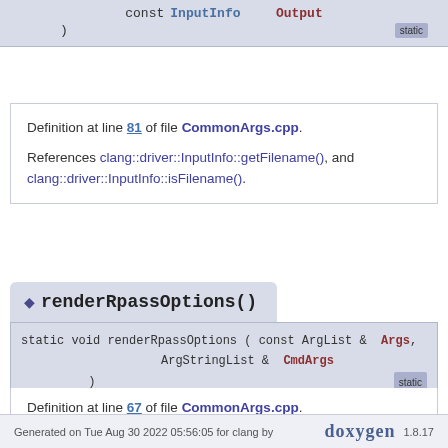const InputInfo &    Output
)    static
Definition at line 81 of file CommonArgs.cpp.
References clang::driver::InputInfo::getFilename(), and clang::driver::InputInfo::isFilename().
◆ renderRpassOptions()
static void renderRpassOptions ( const ArgList &  Args,
 ArgStringList &  CmdArgs
 )    static
Definition at line 67 of file CommonArgs.cpp.
Generated on Tue Aug 30 2022 05:56:05 for clang by doxygen 1.8.17